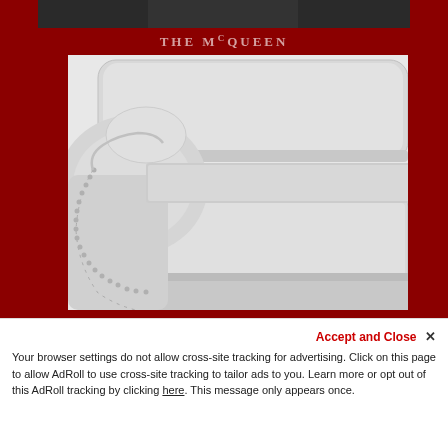THE McQUEEN
[Figure (photo): Close-up photograph of the McQueen sofa — a light grey upholstered sofa with rolled arms trimmed with nailhead detail, shown against a dark red background.]
Accept and Close ×
Your browser settings do not allow cross-site tracking for advertising. Click on this page to allow AdRoll to use cross-site tracking to tailor ads to you. Learn more or opt out of this AdRoll tracking by clicking here. This message only appears once.